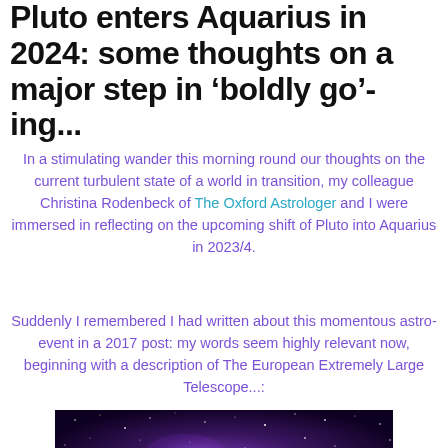Pluto enters Aquarius in 2024: some thoughts on a major step in ‘boldly go’-ing...
In a stimulating wander this morning round our thoughts on the current turbulent state of a world in transition, my colleague Christina Rodenbeck of The Oxford Astrologer and I were immersed in reflecting on the upcoming shift of Pluto into Aquarius in 2023/4.
Suddenly I remembered I had written about this momentous astro-event in a 2017 post: my words seem highly relevant now, beginning with a description of The European Extremely Large Telescope...:
[Figure (photo): Dark purple/violet night sky with stars, possibly a nebula or galaxy image]